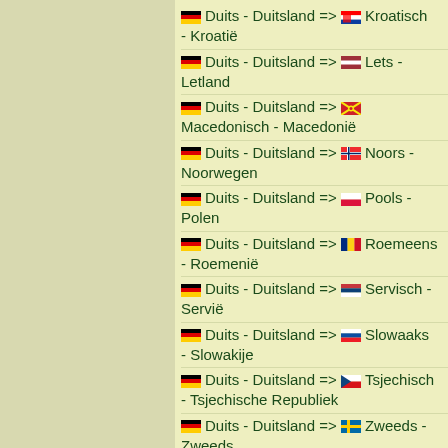Duits - Duitsland => Kroatisch - Kroatië
Duits - Duitsland => Lets - Letland
Duits - Duitsland => Macedonisch - Macedonië
Duits - Duitsland => Noors - Noorwegen
Duits - Duitsland => Pools - Polen
Duits - Duitsland => Roemeens - Roemenië
Duits - Duitsland => Servisch - Servië
Duits - Duitsland => Slowaaks - Slowakije
Duits - Duitsland => Tsjechisch - Tsjechische Republiek
Duits - Duitsland => Zweeds - Zweeds
Engels - VS => Deens - Denemarken
Engels - VS => Engels - Verenigd Koninkrijk